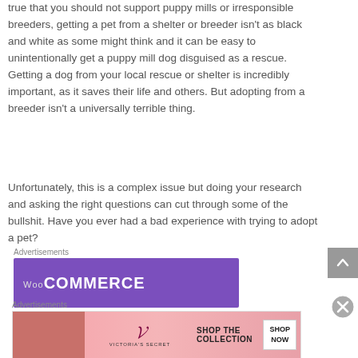true that you should not support puppy mills or irresponsible breeders, getting a pet from a shelter or breeder isn't as black and white as some might think and it can be easy to unintentionally get a puppy mill dog disguised as a rescue. Getting a dog from your local rescue or shelter is incredibly important, as it saves their life and others. But adopting from a breeder isn't a universally terrible thing.
Unfortunately, this is a complex issue but doing your research and asking the right questions can cut through some of the bullshit. Have you ever had a bad experience with trying to adopt a pet?
[Figure (other): WooCommerce advertisement banner with purple background]
[Figure (other): Victoria's Secret advertisement banner with pink gradient background showing shop the collection]